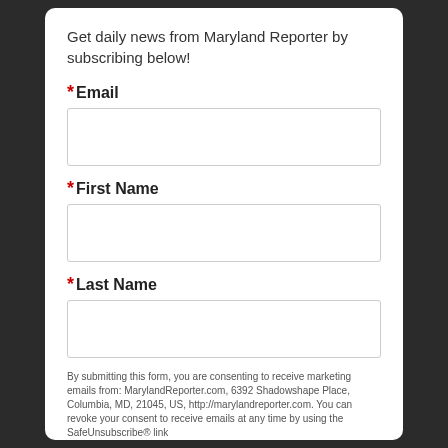Get daily news from Maryland Reporter by subscribing below!
* Email
* First Name
* Last Name
By submitting this form, you are consenting to receive marketing emails from: MarylandReporter.com, 6392 Shadowshape Place, Columbia, MD, 21045, US, http://marylandreporter.com. You can revoke your consent to receive emails at any time by using the SafeUnsubscribe® link